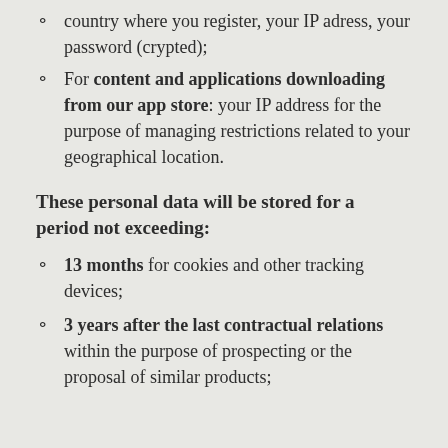country where you register, your IP adress, your password (crypted);
For content and applications downloading from our app store: your IP address for the purpose of managing restrictions related to your geographical location.
These personal data will be stored for a period not exceeding:
13 months for cookies and other tracking devices;
3 years after the last contractual relations within the purpose of prospecting or the proposal of similar products;